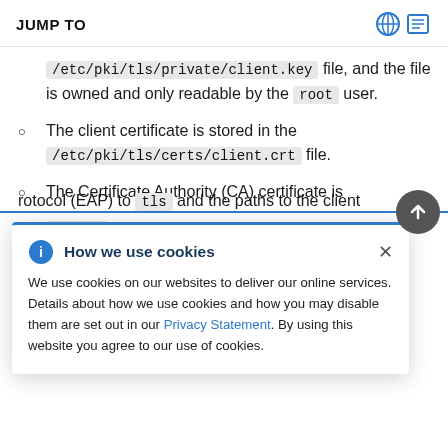JUMP TO
/etc/pki/tls/private/client.key file, and the file is owned and only readable by the root user.
The client certificate is stored in the /etc/pki/tls/certs/client.crt file.
The Certificate Authority (CA) certificate is ... ca.crt file.
How we use cookies - We use cookies on our websites to deliver our online services. Details about how we use cookies and how you may disable them are set out in our Privacy Statement. By using this website you agree to our use of cookies.
... rotocol (EAP) to tls and the paths to the client ...